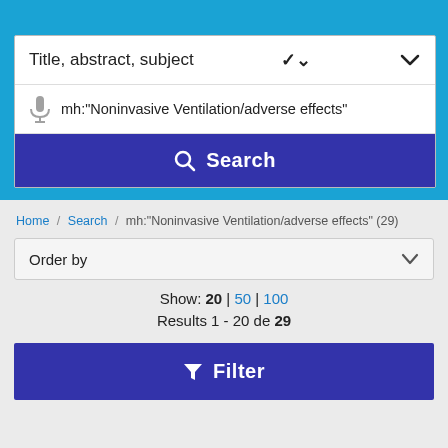Title, abstract, subject
mh:"Noninvasive Ventilation/adverse effects"
Search
Home / Search / mh:"Noninvasive Ventilation/adverse effects" (29)
Order by
Show: 20 | 50 | 100
Results 1 - 20 de 29
Filter